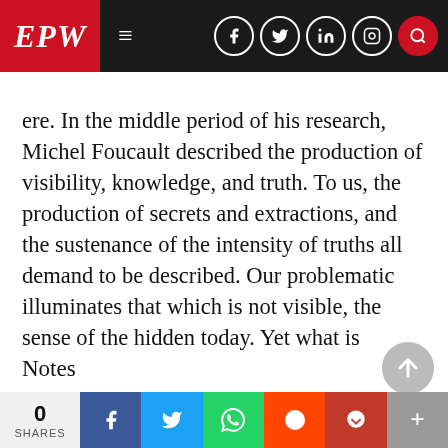EPW [navigation bar with social icons]
ere. In the middle period of his research, Michel Foucault described the production of visibility, knowledge, and truth. To us, the production of secrets and extractions, and the sustenance of the intensity of truths all demand to be described. Our problematic illuminates that which is not visible, the sense of the hidden today. Yet what is hidden if everything secretes? WikiLeaks offers us the chance to think anew our relation to this question in the same way that the night shines brightest in the dark.
Notes
1 This is an extract with Yara al-...
0 SHARES [social share buttons: Facebook, Twitter, WhatsApp, Reddit, Pocket, More]